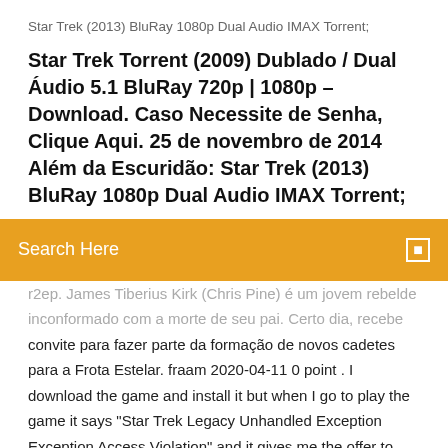Star Trek (2013) BluRay 1080p Dual Audio IMAX Torrent;
Star Trek Torrent (2009) Dublado / Dual Áudio 5.1 BluRay 720p | 1080p – Download. Caso Necessite de Senha, Clique Aqui. 25 de novembro de 2014 Além da Escuridão: Star Trek (2013) BluRay 1080p Dual Audio IMAX Torrent;
Search Here
r2ep. James Tiberius Kirk (Chris Pine) é um jovem rebelde inconformado com a morte de seu pai. Certo dia, recebe convite para fazer parte da formação de novos cadetes para a Frota Estelar. fraam 2020-04-11 0 point . I download the game and install it but when I go to play the game it says "Star Trek Legacy Unhandled Exception Exception Access Violation" and it gives me the offer to either debug it or quit and both options lead to it closing the window. download torrent star trek enterprise (série completa) avi + legenda pt-br srt Star Trek: Enterprise. Enterprise (renomeada Star Trek: Enterprise em sua